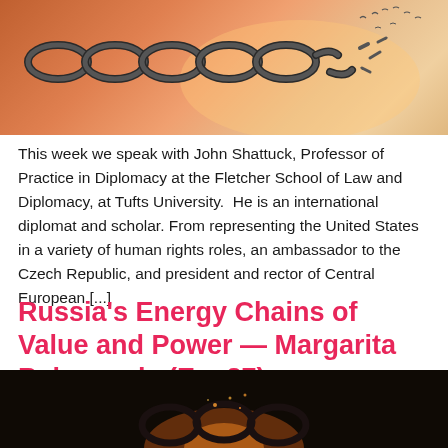[Figure (photo): A broken chain against a warm orange/pink bokeh background with birds flying in the distance]
This week we speak with John Shattuck, Professor of Practice in Diplomacy at the Fletcher School of Law and Diplomacy, at Tufts University.  He is an international diplomat and scholar. From representing the United States in a variety of human rights roles, an ambassador to the Czech Republic, and president and rector of Central European [...]
Russia's Energy Chains of Value and Power — Margarita Balmaceda (Ep. 37)
[Figure (photo): Dark dramatic image showing chains or hands in a fiery/explosive scene]